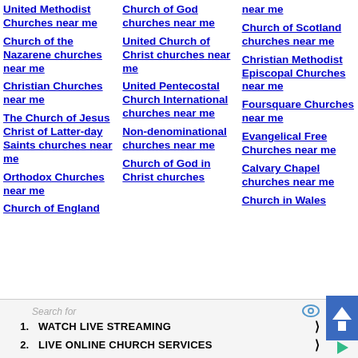United Methodist Churches near me
Church of the Nazarene churches near me
Christian Churches near me
The Church of Jesus Christ of Latter-day Saints churches near me
Orthodox Churches near me
Church of England...
Church of God churches near me
United Church of Christ churches near me
United Pentecostal Church International churches near me
Non-denominational churches near me
Church of God in Christ churches
near me
Church of Scotland churches near me
Christian Methodist Episcopal Churches near me
Foursquare Churches near me
Evangelical Free Churches near me
Calvary Chapel churches near me
Church in Wales
Search for
1. WATCH LIVE STREAMING ❯
2. LIVE ONLINE CHURCH SERVICES ❯